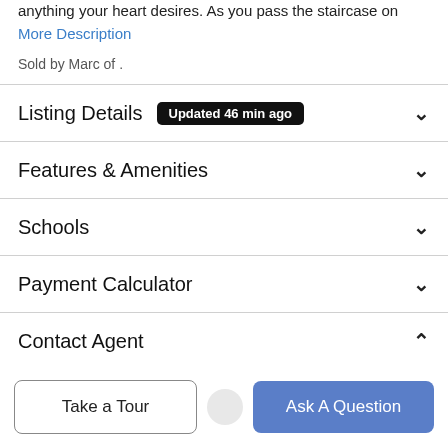anything your heart desires. As you pass the staircase on
More Description
Sold by Marc of .
Listing Details  Updated 46 min ago
Features & Amenities
Schools
Payment Calculator
Contact Agent
Take a Tour
Ask A Question